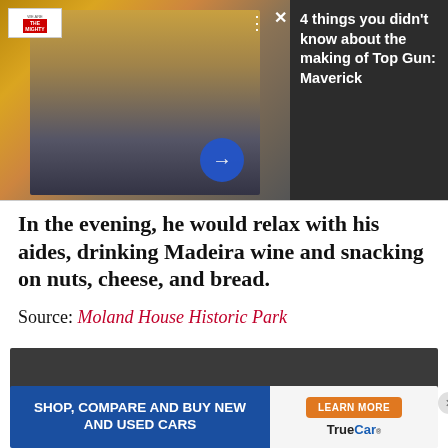[Figure (screenshot): Promotional overlay ad for 'We Are The Mighty' featuring Top Gun: Maverick movie image with a pilot/actor in flight gear, with close and arrow navigation buttons, and panel text reading '4 things you didn't know about the making of Top Gun: Maverick']
In the evening, he would relax with his aides, drinking Madeira wine and snacking on nuts, cheese, and bread.
Source: Moland House Historic Park
[Figure (screenshot): Dark content block placeholder]
[Figure (screenshot): TrueCar by Navy Federal advertisement banner: 'SHOP, COMPARE AND BUY NEW AND USED CARS' with 'LEARN MORE' button and TrueCar logo]